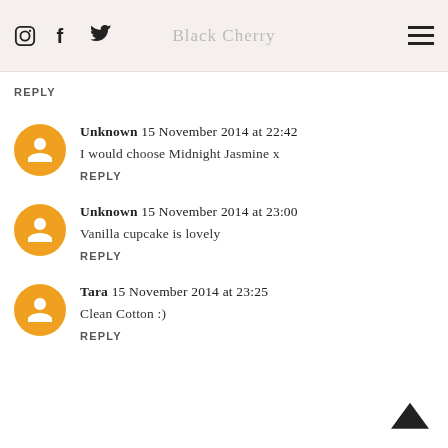Black Cherry
REPLY
Unknown 15 November 2014 at 22:42
I would choose Midnight Jasmine x
REPLY
Unknown 15 November 2014 at 23:00
Vanilla cupcake is lovely
REPLY
Tara 15 November 2014 at 23:25
Clean Cotton :)
REPLY